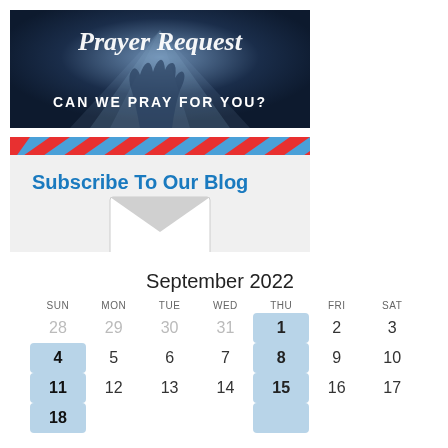[Figure (illustration): Prayer Request banner: dark navy background with raised hands and light rays, italic white text 'Prayer Request' at top, white text 'CAN WE PRAY FOR YOU?' at bottom]
[Figure (illustration): Subscribe To Our Blog banner: diagonal red and blue striped border at top, bold blue text 'Subscribe To Our Blog', white envelope icon on light grey background]
September 2022
| Sun | Mon | Tue | Wed | Thu | Fri | Sat |
| --- | --- | --- | --- | --- | --- | --- |
| 28 | 29 | 30 | 31 | 1 | 2 | 3 |
| 4 | 5 | 6 | 7 | 8 | 9 | 10 |
| 11 | 12 | 13 | 14 | 15 | 16 | 17 |
| 18 | ... | ... | ... | ... | ... | ... |